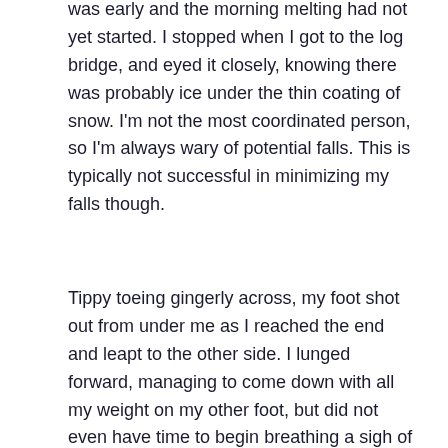was early and the morning melting had not yet started. I stopped when I got to the log bridge, and eyed it closely, knowing there was probably ice under the thin coating of snow. I'm not the most coordinated person, so I'm always wary of potential falls. This is typically not successful in minimizing my falls though.
Tippy toeing gingerly across, my foot shot out from under me as I reached the end and leapt to the other side. I lunged forward, managing to come down with all my weight on my other foot, but did not even have time to begin breathing a sigh of relief before that foot slid away on the snow covered leaves. The next thing I knew I was laying on my back staring up at the blue sky. The fall had happened so fast – I think too fast to cause much injury. I was a little stunned. Finally, I did a bone check, rolled over, and sat up as I brushed off leaves and snow